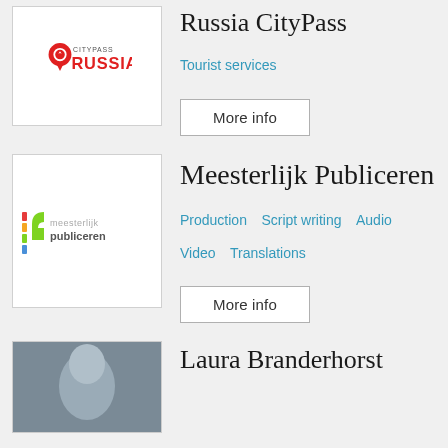[Figure (logo): Russia CityPass logo with red location pin icon and text CITYPASS RUSSIA]
Russia CityPass
Tourist services
More info
[Figure (logo): Meesterlijk Publiceren logo with colorful bracket and text meesterlijk publiceren]
Meesterlijk Publiceren
Production   Script writing   Audio   Video   Translations
More info
[Figure (photo): Photo of Laura Branderhorst, partially cropped]
Laura Branderhorst